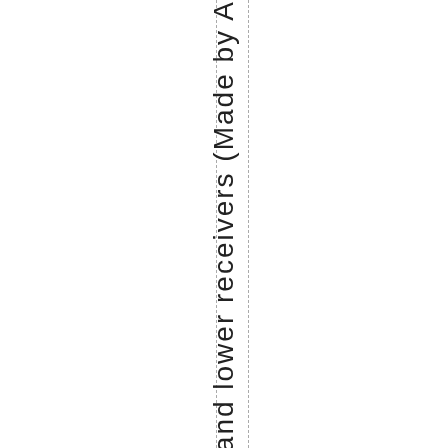per and lower receivers (Made by A